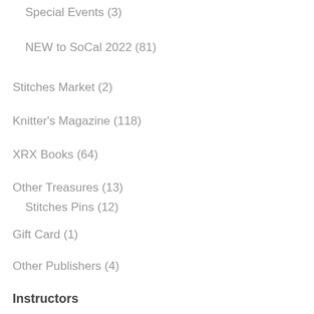Special Events (3)
NEW to SoCal 2022 (81)
Stitches Market (2)
Knitter's Magazine (118)
XRX Books (64)
Other Treasures (13)
Stitches Pins (12)
Gift Card (1)
Other Publishers (4)
Instructors